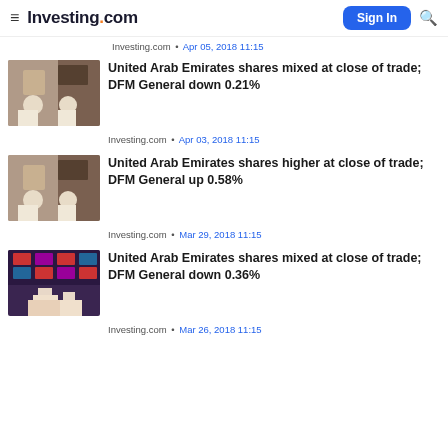Investing.com
Investing.com • Apr 05, 2018 11:15
[Figure (photo): Men in traditional Arab dress seated in a business meeting room]
United Arab Emirates shares mixed at close of trade; DFM General down 0.21%
Investing.com • Apr 03, 2018 11:15
[Figure (photo): Men in traditional Arab dress seated in a business meeting room]
United Arab Emirates shares higher at close of trade; DFM General up 0.58%
Investing.com • Mar 29, 2018 11:15
[Figure (photo): Man in traditional Arab dress standing in front of stock market screens]
United Arab Emirates shares mixed at close of trade; DFM General down 0.36%
Investing.com • Mar 26, 2018 11:15